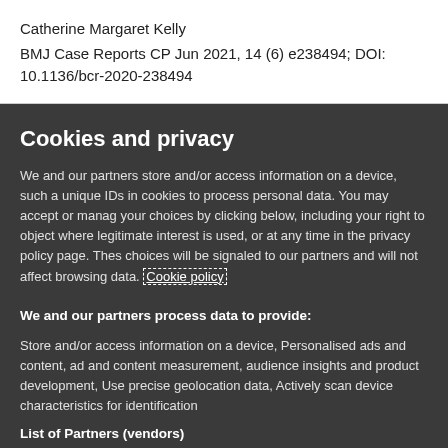Catherine Margaret Kelly
BMJ Case Reports CP Jun 2021, 14 (6) e238494; DOI: 10.1136/bcr-2020-238494
Cookies and privacy
We and our partners store and/or access information on a device, such as unique IDs in cookies to process personal data. You may accept or manage your choices by clicking below, including your right to object where legitimate interest is used, or at any time in the privacy policy page. These choices will be signaled to our partners and will not affect browsing data. Cookie policy
We and our partners process data to provide:
Store and/or access information on a device, Personalised ads and content, ad and content measurement, audience insights and product development, Use precise geolocation data, Actively scan device characteristics for identification
List of Partners (vendors)
I Accept